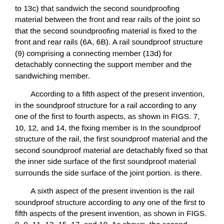to 13c) that sandwich the second soundproofing material between the front and rear rails of the joint so that the second soundproofing material is fixed to the front and rear rails (6A, 6B). A rail soundproof structure (9) comprising a connecting member (13d) for detachably connecting the support member and the sandwiching member.
According to a fifth aspect of the present invention, in the soundproof structure for a rail according to any one of the first to fourth aspects, as shown in FIGS. 7, 10, 12, and 14, the fixing member is In the soundproof structure of the rail, the first soundproof material and the second soundproof material are detachably fixed so that the inner side surface of the first soundproof material surrounds the side surface of the joint portion. is there.
A sixth aspect of the present invention is the rail soundproof structure according to any one of the first to fifth aspects of the present invention, as shown in FIGS. 8, 9, 11, 13, 15, 17, and 19. As shown, the second soundproofing material is a rail soundproofing structure that covers at least the entire abdomen (6c) and bottom (6b) of the rail before and after the joint.